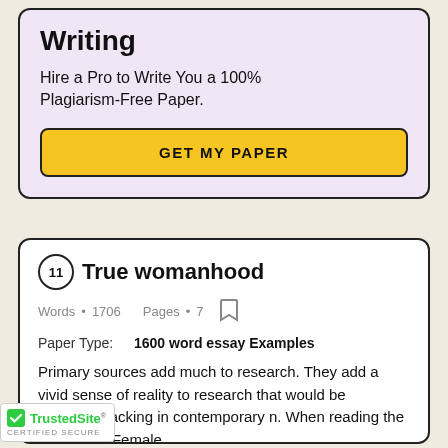Writing
Hire a Pro to Write You a 100% Plagiarism-Free Paper.
GET MY PAPER
11 True womanhood
Words • 1706    Pages • 7
Paper Type:    1600 word essay Examples
Primary sources add much to research. They add a vivid sense of reality to research that would be otherwise lacking in contemporary n. When reading the article The Female
[Figure (logo): TrustedSite CERTIFIED SECURE badge with green checkmark]